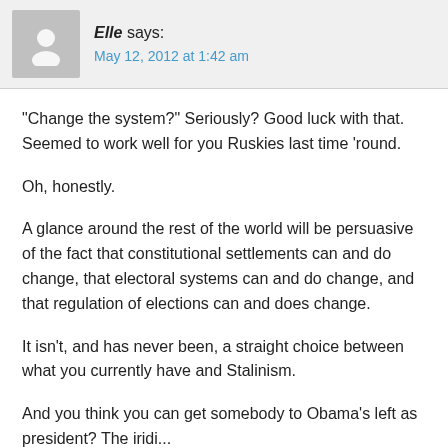Elle says:
May 12, 2012 at 1:42 am
"Change the system?" Seriously? Good luck with that. Seemed to work well for you Ruskies last time 'round.
Oh, honestly.
A glance around the rest of the world will be persuasive of the fact that constitutional settlements can and do change, that electoral systems can and do change, and that regulation of elections can and does change.
It isn't, and has never been, a straight choice between what you currently have and Stalinism.
And you think you can get somebody to Obama's left as president? The iridi...